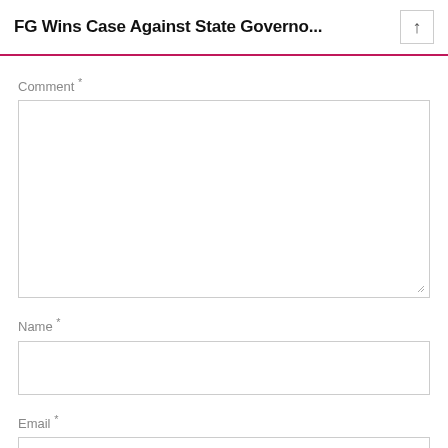FG Wins Case Against State Governo...
Comment *
[Figure (other): Large empty comment text area input box]
Name *
[Figure (other): Empty name input field]
Email *
[Figure (other): Empty email input field (partially visible)]